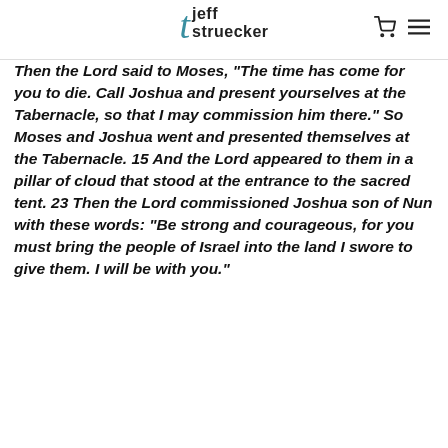jeff struecker
Then the Lord said to Moses, “The time has come for you to die. Call Joshua and present yourselves at the Tabernacle, so that I may commission him there.” So Moses and Joshua went and presented themselves at the Tabernacle. 15 And the Lord appeared to them in a pillar of cloud that stood at the entrance to the sacred tent. 23 Then the Lord commissioned Joshua son of Nun with these words: “Be strong and courageous, for you must bring the people of Israel into the land I swore to give them. I will be with you.”